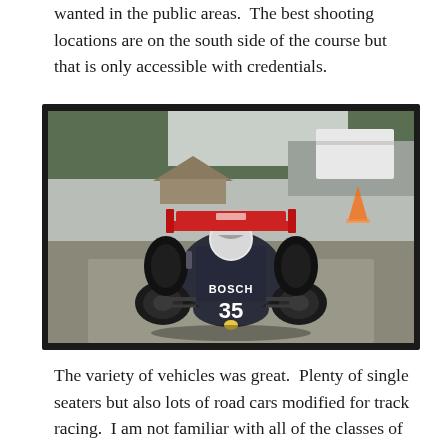wanted in the public areas.  The best shooting locations are on the south side of the course but that is only accessible with credentials.
[Figure (photo): A dark blue single-seater formula-style race car with number 35 and BOSCH branding, approaching head-on on a paved surface. The driver wears a white helmet. Red rear wing visible. Parked cars and trees in background.]
The variety of vehicles was great.  Plenty of single seaters but also lots of road cars modified for track racing.  I am not familiar with all of the classes of car racing but I just get to